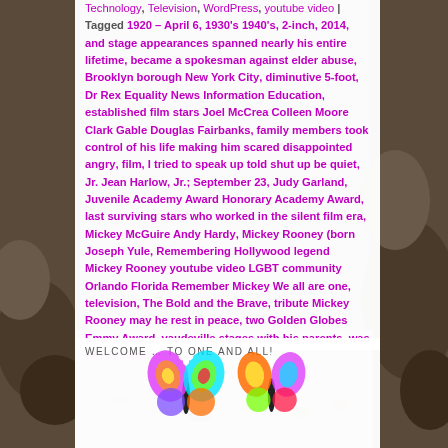Technology, Television, WordPress, youtube video | Tagged 1920 – April 6, 1930's 1940's, 2-inch, 2014, and stage appearances spanned nearly his entire lifetime, became a spokesman against elder abuse, Brooklyn borough New York City, diminutive 5-foot, Dr Rex Equality News Information Education, established film stars Joel McCrea Colleen Moore Clark Gable Douglas Fairbanks, family members took control of his life making him scared disappointed angry, film, I tried to speak up told shut up be quiet, Jr. Jean Harlow, Jr.; September 23, Judy Garland, Juvenile Academy Award Honorary Academy Award, last surviving stars who worked in the silent film era, Mickey McGuire Andy Hardy, Mickey Rooney (born Joseph Yule, Remembering Hollywood legend Mickey Rooney youtube video LGBT community Orlando Florida Remember Mickey We all are one, television, The Bold and the Brave, tribute Mickey Rooney may he rest in peace, two Golden Globes Emmy Award, vaudeville stages with his parents, was 93 | 10 Replies
WELCOME … TO ONE AND ALL!
[Figure (illustration): Two colorful rainbow butterflies at the bottom of the white content area]